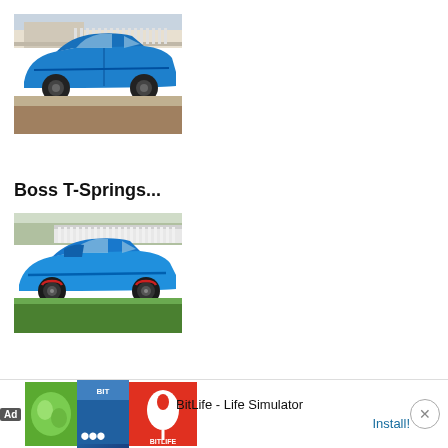[Figure (photo): Blue Ford Mustang muscle car photographed from the side in a residential driveway, stock springs configuration]
Boss T-Springs...
[Figure (photo): Blue Ford Mustang muscle car photographed from the side in a residential setting, with Boss T-Springs installed, car sits lower]
Stock Grilles...
[Figure (screenshot): Ad banner: BitLife - Life Simulator app advertisement with Install button and close button]